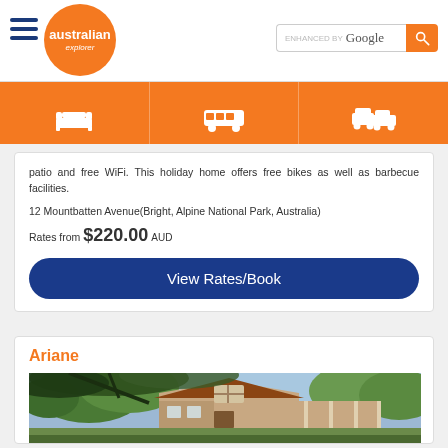Australian Explorer - enhanced by Google
patio and free WiFi. This holiday home offers free bikes as well as barbecue facilities.
12 Mountbatten Avenue(Bright, Alpine National Park, Australia)
Rates from $220.00 AUD
View Rates/Book
Ariane
[Figure (photo): Exterior photo of Ariane property, a wooden house with verandah seen through overhanging tree branches, blue sky background]